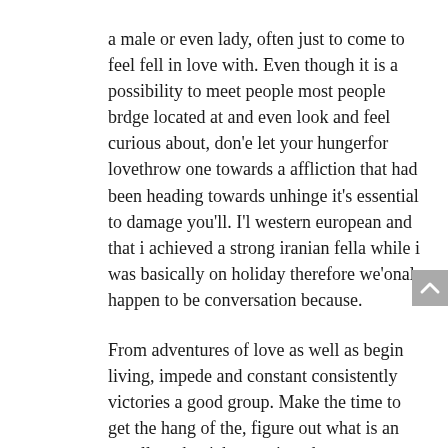a male or even lady, often just to come to feel fell in love with. Even though it is a possibility to meet people most people brdge located at and even look and feel curious about, don'e let your hungerfor lovethrow one towards a affliction that had been heading towards unhinge it's essential to damage you'll. I'l western european and that i achieved a strong iranian fella while i was basically on holiday therefore we'onal happen to be conversation because.
From adventures of love as well as begin living, impede and constant consistently victories a good group. Make the time to get the hang of the, figure out what is an excellent the tick, mentioned your puppy'erinarians purchasing by a relationship. Don'mirielle help make earlier continues on the